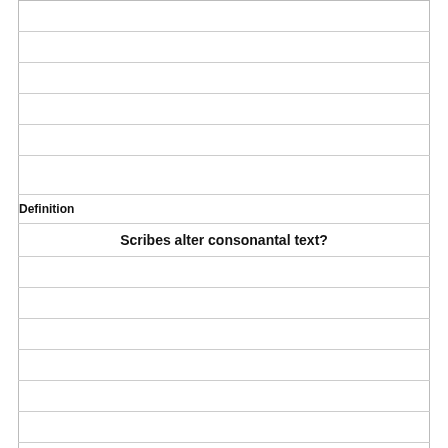|  |
|  |
|  |
|  |
|  |
|  |
| Definition |  |
|  | Scribes alter consonantal text? |
|  |
|  |
|  |
|  |
|  |
|  |
|  |
|  |
|  |
| Term |  |
|  | Pd 4 question |